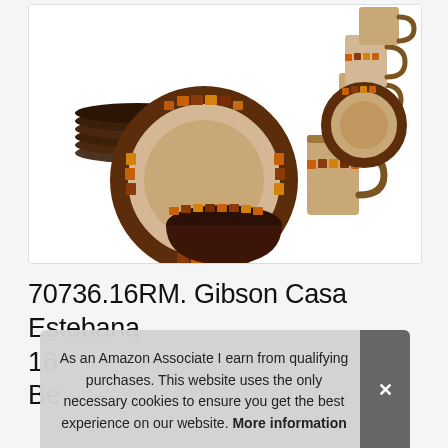[Figure (photo): Gibson Casa Estebana 16-piece dinnerware set product photo showing stacked plates, bowls, and mugs with brown and orange mosaic tile pattern border on cream/beige background]
70736.16RM. Gibson Casa Estebana 16 Be
As an Amazon Associate I earn from qualifying purchases. This website uses the only necessary cookies to ensure you get the best experience on our website. More information